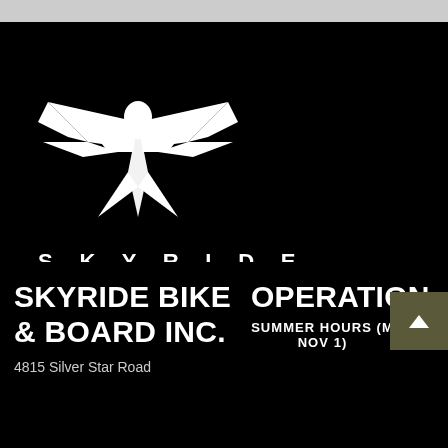[Figure (logo): Skyride bird/eagle logo — white stylized bird with spread wings and pointed tail on black background]
SKYRIDE
PUSH THE BOUNDARIES
SKYRIDE BIKE & BOARD INC.
4815 Silver Star Road
OPERATION.
SUMMER HOURS (M... NOV 1)